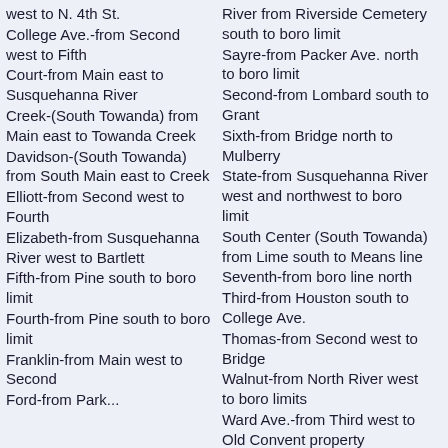west to N. 4th St.
College Ave.-from Second west to Fifth
Court-from Main east to Susquehanna River
Creek-(South Towanda) from Main east to Towanda Creek
Davidson-(South Towanda) from South Main east to Creek
Elliott-from Second west to Fourth
Elizabeth-from Susquehanna River west to Bartlett
Fifth-from Pine south to boro limit
Fourth-from Pine south to boro limit
Franklin-from Main west to Second
Ford-from Park...
River from Riverside Cemetery south to boro limit
Sayre-from Packer Ave. north to boro limit
Second-from Lombard south to Grant
Sixth-from Bridge north to Mulberry
State-from Susquehanna River west and northwest to boro limit
South Center (South Towanda) from Lime south to Means line
Seventh-from boro line north
Third-from Houston south to College Ave.
Thomas-from Second west to Bridge
Walnut-from North River west to boro limits
Ward Ave.-from Third west to Old Convent property
Washington-from Second east to Susquehanna River
Watts-from Third north to Oak
West James-from York Ave. west, North Towanda
Weston-from Main east to Susquehanna River
Western Ave.-from Mulberry north to Ward Ave.
William-from Canal north to Locust Ave.